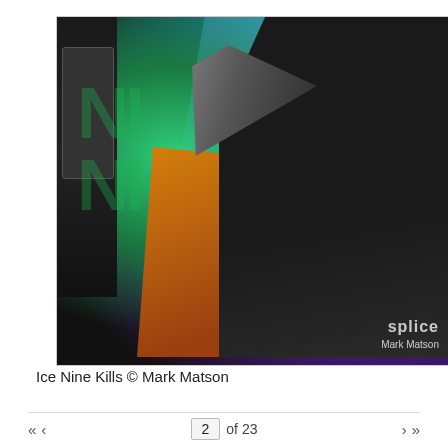[Figure (photo): Concert photo of Ice Nine Kills performers on stage. Main performer in black outfit holding microphone in foreground, second performer in yellow/orange costume behind. Stage lit with green and teal lighting on backdrop with band logo. A white card prop visible. Splice / Mark Matson watermark in bottom right corner.]
Ice Nine Kills © Mark Matson
« ‹  2 of 23  › »